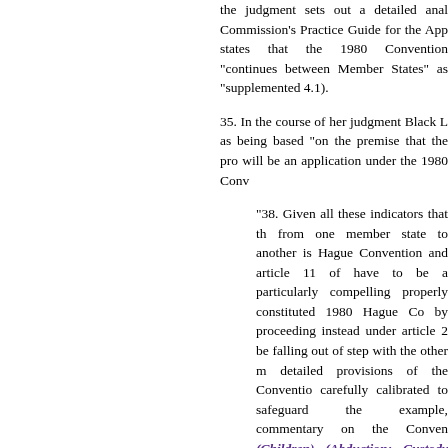the judgment sets out a detailed analysis of Commission's Practice Guide for the Application states that the 1980 Convention "continues between Member States" as "supplemented 4.1).
35. In the course of her judgment Black L as being based "on the premise that the pro will be an application under the 1980 Conv
"38. Given all these indicators that the from one member state to another is Hague Convention and article 11 of have to be a particularly compelling properly constituted 1980 Hague Co by proceeding instead under article 2 be falling out of step with the other m detailed provisions of the Convention carefully calibrated to safeguard the i example, commentary on the Conven (Children) (Abduction: Custody App 14–18). Article 20, useful though it is to the circumstances in which the cou and the measures taken "provisional, of the kind provided by the Conventi the parties and the court upon the iss return order should or should not be p